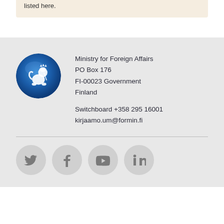listed here.
[Figure (logo): Circular blue logo of the Ministry for Foreign Affairs of Finland with a white lion emblem]
Ministry for Foreign Affairs
PO Box 176
FI-00023 Government
Finland

Switchboard +358 295 16001
kirjaamo.um@formin.fi
[Figure (infographic): Social media icons: Twitter, Facebook, YouTube, LinkedIn in grey circles]